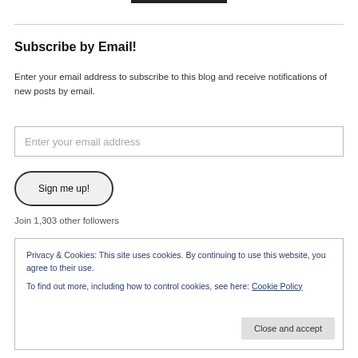Subscribe by Email!
Enter your email address to subscribe to this blog and receive notifications of new posts by email.
Enter your email address
Sign me up!
Join 1,303 other followers
Privacy & Cookies: This site uses cookies. By continuing to use this website, you agree to their use.
To find out more, including how to control cookies, see here: Cookie Policy
Close and accept